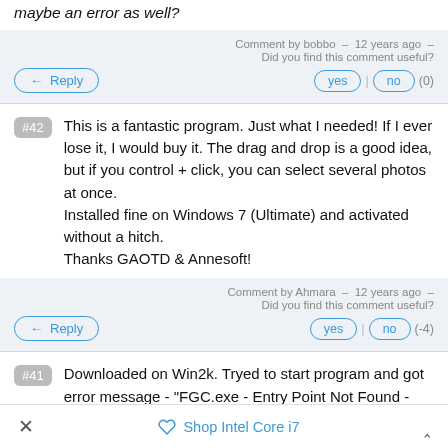maybe an error as well?
Comment by bobbo – 12 years ago – Did you find this comment useful?
yes | no (0)
#42 This is a fantastic program. Just what I needed! If I ever lose it, I would buy it. The drag and drop is a good idea, but if you control + click, you can select several photos at once.
Installed fine on Windows 7 (Ultimate) and activated without a hitch.
Thanks GAOTD & Annesoft!
Comment by Ahmara – 12 years ago – Did you find this comment useful?
yes | no (-4)
#41 Downloaded on Win2k. Tryed to start program and got error message - "FGC.exe - Entry Point Not Found - The
× Shop Intel Core i7 ^